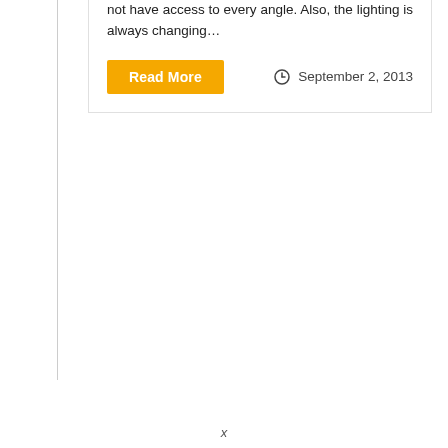not have access to every angle. Also, the lighting is always changing...
Read More  September 2, 2013
x